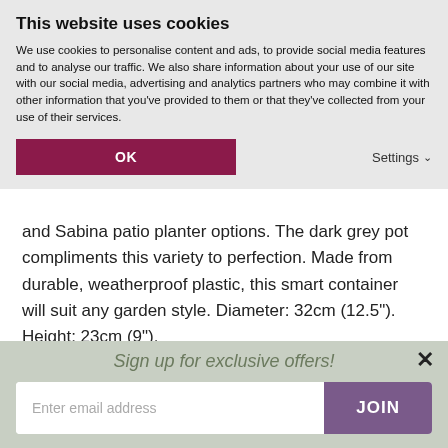This website uses cookies
We use cookies to personalise content and ads, to provide social media features and to analyse our traffic. We also share information about your use of our site with our social media, advertising and analytics partners who may combine it with other information that you've provided to them or that they've collected from your use of their services.
OK | Settings
and Sabina patio planter options. The dark grey pot compliments this variety to perfection. Made from durable, weatherproof plastic, this smart container will suit any garden style. Diameter: 32cm (12.5"). Height: 23cm (9").
Agapanthus 'Tom Thumb' is protected, or under application stage to be protected under UK or European Law. Unauthorised
Sign up for exclusive offers!
Enter email address
JOIN